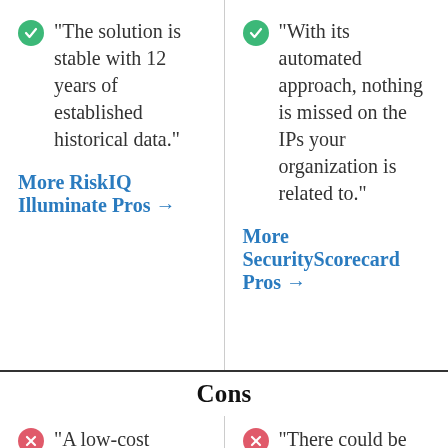"The solution is stable with 12 years of established historical data."
More RiskIQ Illuminate Pros →
"With its automated approach, nothing is missed on the IPs your organization is related to."
More SecurityScorecard Pros →
Cons
"A low-cost service
"There could be